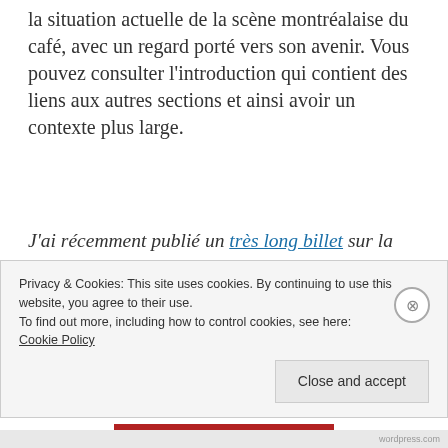la situation actuelle de la scène montréalaise du café, avec un regard porté vers son avenir. Vous pouvez consulter l'introduction qui contient des liens aux autres sections et ainsi avoir un contexte plus large.
J'ai récemment publié un très long billet sur la scène du café à Montréal. Sans doûte à cause de sa longueur, ce billet ne semble pas avoir les effets escomptés. J'ai donc décidé de republier ce billet,
Privacy & Cookies: This site uses cookies. By continuing to use this website, you agree to their use.
To find out more, including how to control cookies, see here: Cookie Policy
Close and accept